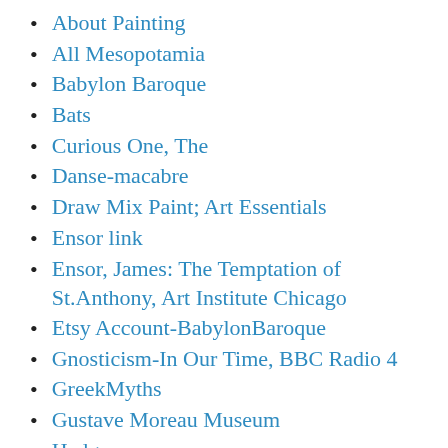About Painting
All Mesopotamia
Babylon Baroque
Bats
Curious One, The
Danse-macabre
Draw Mix Paint; Art Essentials
Ensor link
Ensor, James: The Temptation of St.Anthony, Art Institute Chicago
Etsy Account-BabylonBaroque
Gnosticism-In Our Time, BBC Radio 4
GreekMyths
Gustave Moreau Museum
Hedgecrows
Judithe Hernández